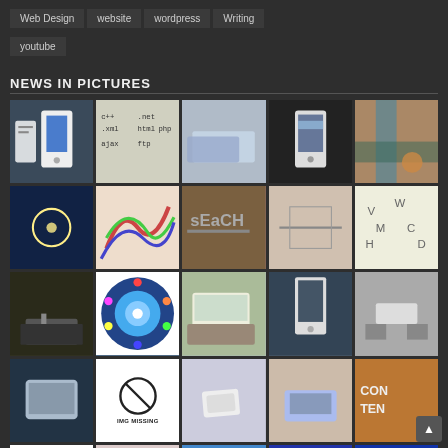Web Design
website
wordpress
Writing
youtube
NEWS IN PICTURES
[Figure (photo): Grid of 25 thumbnail images related to technology, web, SEO, mobile, and digital content topics. Some images are placeholders labeled IMG MISSING.]